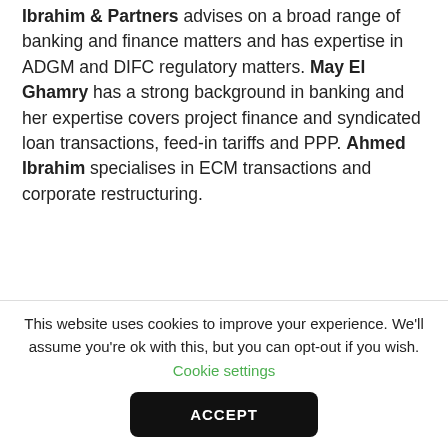Ibrahim & Partners advises on a broad range of banking and finance matters and has expertise in ADGM and DIFC regulatory matters. May El Ghamry has a strong background in banking and her expertise covers project finance and syndicated loan transactions, feed-in tariffs and PPP. Ahmed Ibrahim specialises in ECM transactions and corporate restructuring.
Practice head(s): Ahmed Ibrahim; May El Ghamry
Testimonials
This website uses cookies to improve your experience. We'll assume you're ok with this, but you can opt-out if you wish. Cookie settings ACCEPT